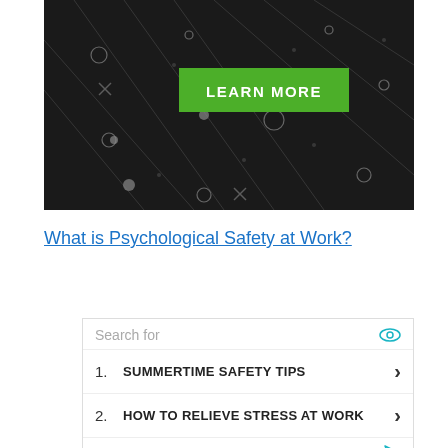[Figure (illustration): Dark background banner image with network/circuit lines and nodes pattern, containing a green 'LEARN MORE' button in the center]
What is Psychological Safety at Work?
Search for
1. SUMMERTIME SAFETY TIPS
2. HOW TO RELIEVE STRESS AT WORK